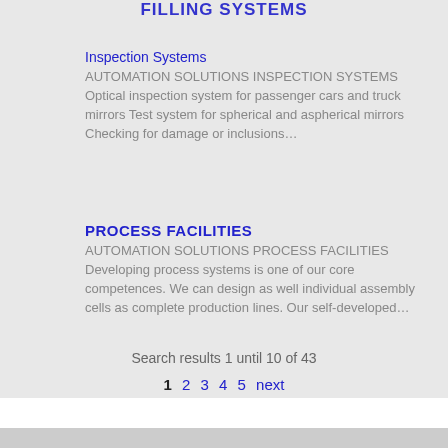FILLING SYSTEMS
Inspection Systems
AUTOMATION SOLUTIONS INSPECTION SYSTEMS Optical inspection system for passenger cars and truck mirrors Test system for spherical and aspherical mirrors Checking for damage or inclusions…
PROCESS FACILITIES
AUTOMATION SOLUTIONS PROCESS FACILITIES Developing process systems is one of our core competences. We can design as well individual assembly cells as complete production lines. Our self-developed…
Search results 1 until 10 of 43
1 2 3 4 5 next